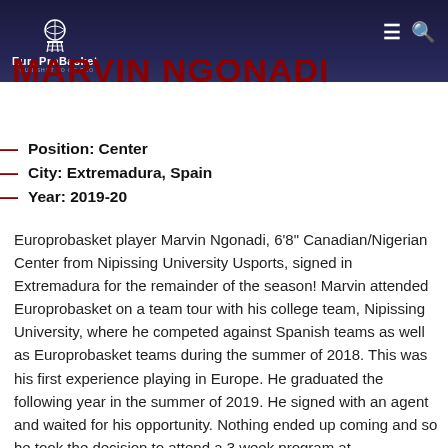EuroProBasket — YOUR SHOT TO GO PRO
MARVIN NGONADI
Position: Center
City: Extremadura, Spain
Year: 2019-20
Europrobasket player Marvin Ngonadi, 6'8" Canadian/Nigerian Center from Nipissing University Usports, signed in Extremadura for the remainder of the season! Marvin attended Europrobasket on a team tour with his college team, Nipissing University, where he competed against Spanish teams as well as Europrobasket teams during the summer of 2018. This was his first experience playing in Europe. He graduated the following year in the summer of 2019. He signed with an agent and waited for his opportunity. Nothing ended up coming and so he took the decision to attend a 3 week program at